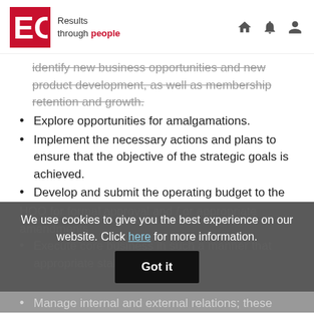EO Results through people
identify new business opportunities and new product development, as well as membership retention and growth.
Explore opportunities for amalgamations.
Implement the necessary actions and plans to ensure that the objective of the strategic goals is achieved.
Develop and submit the operating budget to the HOO for formal approval and / or appropriate amendments.
Execute core business in such a manner that appropriate stakeholder relations enhance the corporate profile.
Manage internal and external relations; these
We use cookies to give you the best experience on our website. Click here for more information. Got it